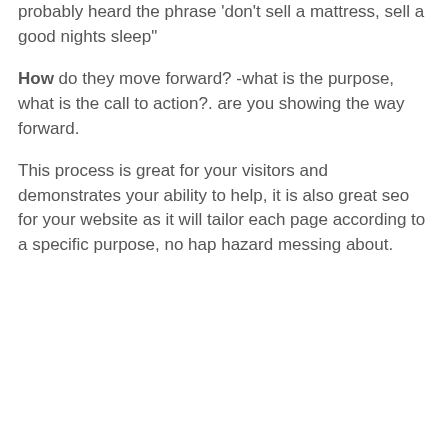probably heard the phrase  'don't sell a mattress, sell a good nights sleep"
How do they move forward? -what is the purpose, what is the call to action?. are you showing the way forward.
This process is great for your visitors and demonstrates your ability to help, it is also great seo for your website as it will tailor each page according to a specific purpose, no hap hazard messing about.